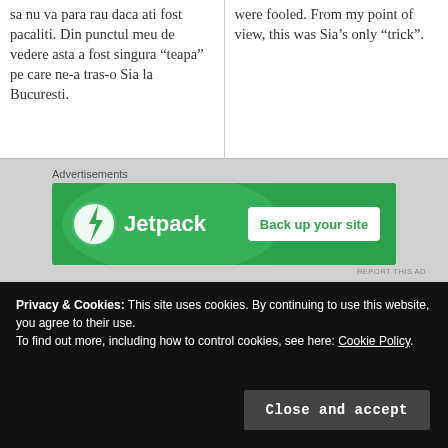sa nu va para rau daca ati fost pacaliti. Din punctul meu de vedere asta a fost singura “teapa” pe care ne-a tras-o Sia la Bucuresti.
were fooled. From my point of view, this was Sia’s only “trick”.
Advertisements
[Figure (other): Jetpack advertisement banner: green background, Jetpack logo with lightning bolt icon on left, 'Jetpack' text, and white button saying 'Back up your site' on right.]
REPORT THIS AD
Privacy & Cookies: This site uses cookies. By continuing to use this website, you agree to their use.
To find out more, including how to control cookies, see here: Cookie Policy
Close and accept